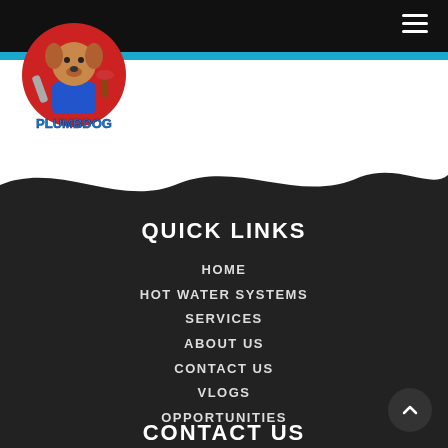[Figure (logo): PlumbDog plumbing company logo — cartoon dog mascot holding plumbing tools inside a red circle with 'PLUMBDOG' text in blue]
Navigation bar with hamburger menu icon
QUICK LINKS
HOME
HOT WATER SYSTEMS
SERVICES
ABOUT US
CONTACT US
VLOGS
OPPORTUNITIES
CONTACT US